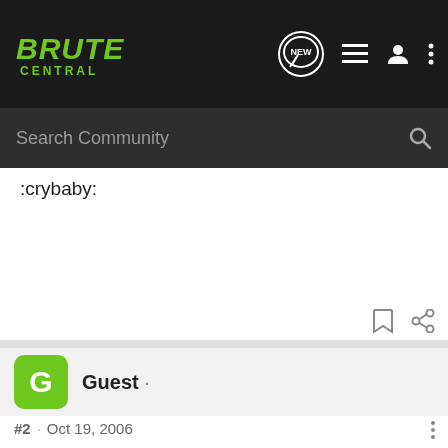BRUTE CENTRAL — Search Community
:crybaby:
Guest ·
#2 · Oct 19, 2006
Man that sucks... I hate fuggin theives...